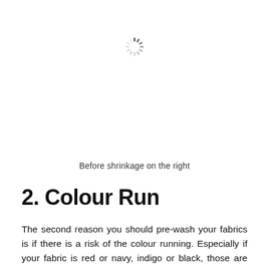[Figure (other): A loading spinner icon (circular dashed wheel) centered near the top of the page, representing an image that failed to load or is loading.]
Before shrinkage on the right
2. Colour Run
The second reason you should pre-wash your fabrics is if there is a risk of the colour running. Especially if your fabric is red or navy, indigo or black, those are the main colours that would tend to colour bleed. Then I would suggest pre washing your fabrics before you use it.